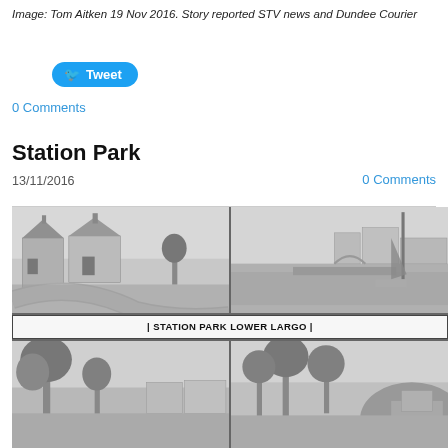Image: Tom Aitken 19 Nov 2016. Story reported STV news and Dundee Courier
Tweet
0 Comments
Station Park
13/11/2016
0 Comments
[Figure (photo): Black and white composite postcard showing four views of Station Park Lower Largo, with a central banner reading STATION PARK LOWER LARGO. Top left: residential houses with a curved road. Top right: a harbour or coastal view with buildings. Bottom left: trees and a residential area. Bottom right: trees and a building.]